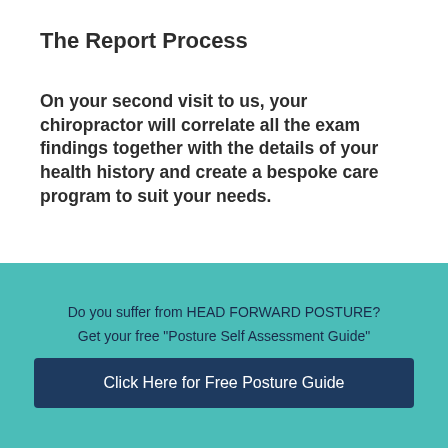The Report Process
On your second visit to us, your chiropractor will correlate all the exam findings together with the details of your health history and create a bespoke care program to suit your needs.
We explain clearly and visually the findings from the tests and x-rays (if taken.)
We will explain the cause of your
Do you suffer from HEAD FORWARD POSTURE?
Get your free "Posture Self Assessment Guide"
Click Here for Free Posture Guide